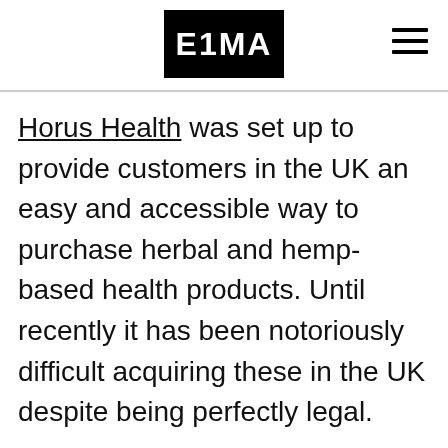E1MA
Horus Health was set up to provide customers in the UK an easy and accessible way to purchase herbal and hemp-based health products. Until recently it has been notoriously difficult acquiring these in the UK despite being perfectly legal.